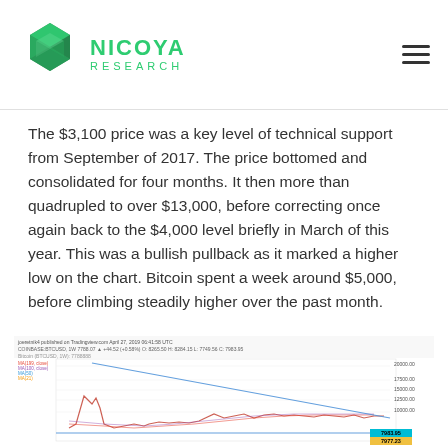NICOYA RESEARCH
The $3,100 price was a key level of technical support from September of 2017. The price bottomed and consolidated for four months. It then more than quadrupled to over $13,000, before correcting once again back to the $4,000 level briefly in March of this year. This was a bullish pullback as it marked a higher low on the chart. Bitcoin spent a week around $5,000, before climbing steadily higher over the past month.
[Figure (continuous-plot): Bitcoin price chart (BTCUSD) showing price history with moving averages and trendlines. Chart shows price declining from ~$20,000 peak, consolidating at ~$3,100 support level, then recovering toward ~$7,983. A descending trendline and horizontal support line at ~$3,100 are shown. Price label shows 7983.95 and 7977.23.]